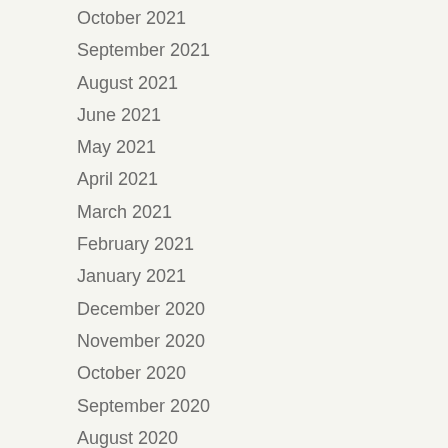October 2021
September 2021
August 2021
June 2021
May 2021
April 2021
March 2021
February 2021
January 2021
December 2020
November 2020
October 2020
September 2020
August 2020
July 2020
June 2020
May 2020
April 2020
March 2020
February 2020
January 2020